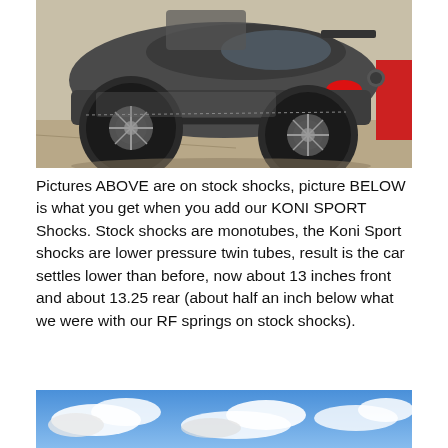[Figure (photo): Rear three-quarter view of a dark gray Mazda MX-5 RF with aftermarket wheels on a paved surface outdoors]
Pictures ABOVE are on stock shocks, picture BELOW is what you get when you add our KONI SPORT Shocks. Stock shocks are monotubes, the Koni Sport shocks are lower pressure twin tubes, result is the car settles lower than before, now about 13 inches front and about 13.25 rear (about half an inch below what we were with our RF springs on stock shocks).
[Figure (photo): Partial photo showing a blue sky with white clouds, bottom portion of image cut off]